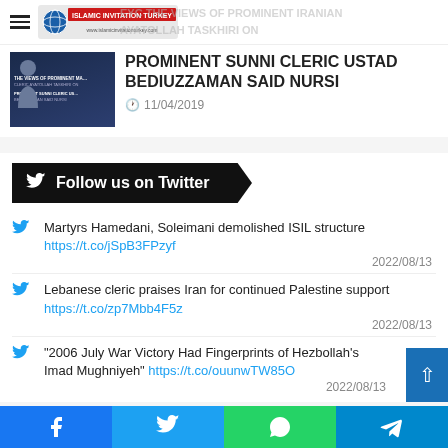Islamic Invitation Turkey – navigation bar with logo
[Figure (screenshot): Thumbnail image showing article preview with text: THE VIEWS OF PROMINENT MA… CLERIC AYATOLLAH TASKHIRI ON, PROMINENT SUNNI CLERIC US… BEDIUZZAMAN SAID NURSI]
PROMINENT SUNNI CLERIC USTAD BEDIUZZAMAN SAID NURSI
11/04/2019
Follow us on Twitter
Martyrs Hamedani, Soleimani demolished ISIL structure https://t.co/jSpB3FPzyf
2022/08/13
Lebanese cleric praises Iran for continued Palestine support https://t.co/zp7Mbb4F5z
2022/08/13
"2006 July War Victory Had Fingerprints of Hezbollah's Imad Mughniyeh" https://t.co/ouunwTW85O
2022/08/13
Facebook | Twitter | WhatsApp | Telegram share buttons